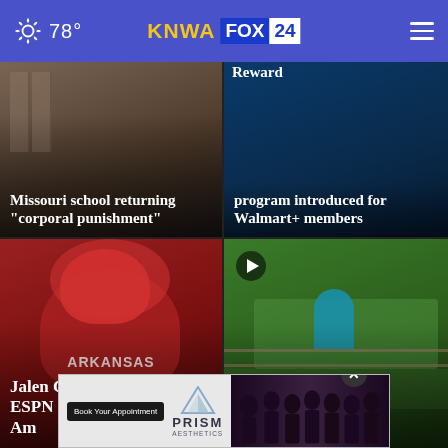KNWA FOX24 — 78°
[Figure (screenshot): News card: Missouri school returning 'corporal punishment' — dark photo of school hallway/lockers]
[Figure (screenshot): News card: Reward program introduced for Walmart+ members — dark blue banner/logo background]
[Figure (screenshot): News card: Jalen Catalon Named ESPN First-Team All-America — Arkansas Razorbacks football player #1 in red uniform raising finger]
[Figure (screenshot): News card: Summer heat [story] — cyclist on trail in summer, video play button overlay]
[Figure (screenshot): Advertisement banner: Book Your Appointment — PRISM, with group photo of people in black]